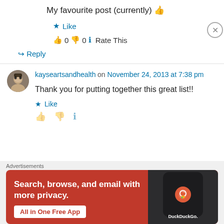My favourite post (currently) 👍
★ Like
👍 0 👎 0 ℹ Rate This
↪ Reply
kayseartsandhealth on November 24, 2013 at 7:38 pm
Thank you for putting together this great list!!
★ Like
[Figure (other): DuckDuckGo advertisement banner: Search, browse, and email with more privacy. All in One Free App. Shows DuckDuckGo logo on dark phone mockup.]